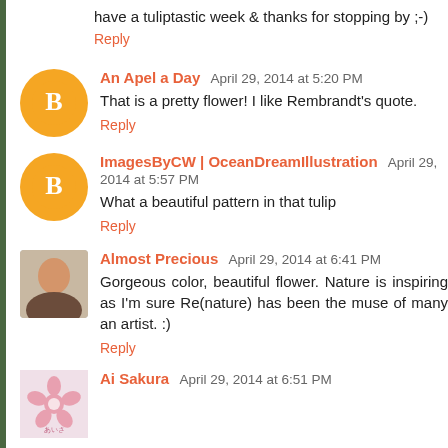have a tuliptastic week & thanks for stopping by ;-)
Reply
An Apel a Day  April 29, 2014 at 5:20 PM
That is a pretty flower! I like Rembrandt's quote.
Reply
ImagesByCW | OceanDreamIllustration  April 29, 2014 at 5:57 PM
What a beautiful pattern in that tulip
Reply
Almost Precious  April 29, 2014 at 6:41 PM
Gorgeous color, beautiful flower. Nature is inspiring as I'm sure Re (nature) has been the muse of many an artist. :)
Reply
Ai Sakura  April 29, 2014 at 6:51 PM